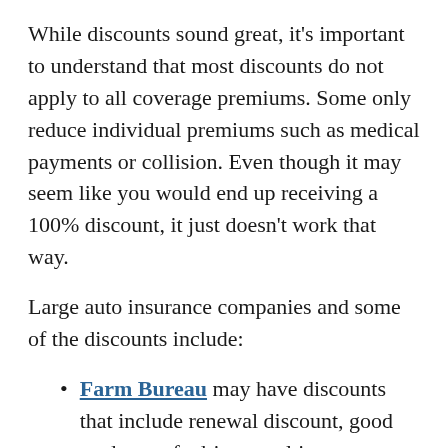While discounts sound great, it's important to understand that most discounts do not apply to all coverage premiums. Some only reduce individual premiums such as medical payments or collision. Even though it may seem like you would end up receiving a 100% discount, it just doesn't work that way.
Large auto insurance companies and some of the discounts include:
Farm Bureau may have discounts that include renewal discount, good student, safe driver, multi-